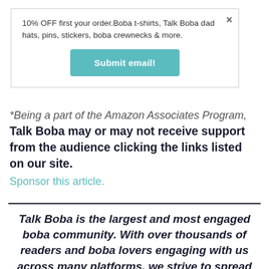10% OFF first your order.Boba t-shirts, Talk Boba dad hats, pins, stickers, boba crewnecks & more.
Submit email!
*Being a part of the Amazon Associates Program, Talk Boba may or may not receive support from the audience clicking the links listed on our site.
Sponsor this article.
Talk Boba is the largest and most engaged boba community. With over thousands of readers and boba lovers engaging with us across many platforms, we strive to spread boba and the culture it's brought